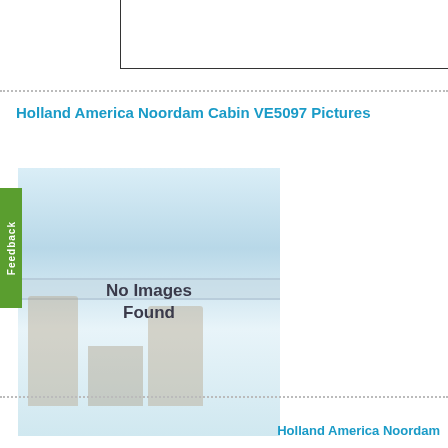[Figure (other): Top box outline element — partial bordered rectangle at top of page]
Holland America Noordam Cabin VE5097 Pictures
[Figure (photo): Cruise ship balcony photo placeholder with 'No Images Found' overlay text and green Feedback tab on the left side]
Holland America Noordam